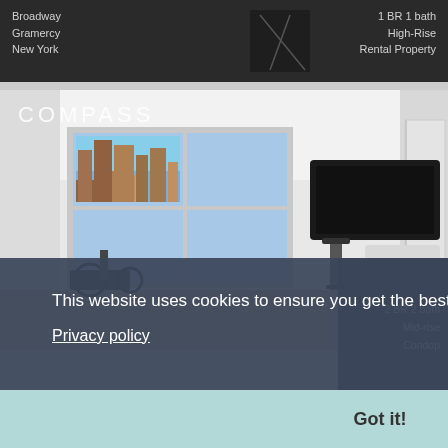[Figure (photo): Top dark strip showing partial real estate listing with text overlay: Broadway, Gramercy, New York on left; 1 BR 1 bath, High-Rise, Rental Property on right]
Broadway
Gramercy
New York
1 BR 1 bath
High-Rise
Rental Property
[Figure (photo): Main listing photo of a modern apartment living room with COMPASS watermark logo in upper left, large windows with city view, wall-mounted TV, exercise bike, and contemporary furniture]
COMPASS
This website uses cookies to ensure you get the best experience on our website.
Privacy policy
2 BR 2 bath
Mid-rise
Condop
Got it!